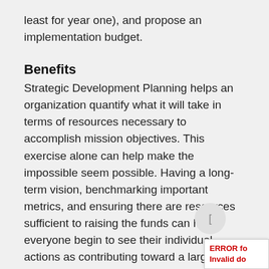least for year one), and propose an implementation budget.
Benefits
Strategic Development Planning helps an organization quantify what it will take in terms of resources necessary to accomplish mission objectives. This exercise alone can help make the impossible seem possible. Having a long-term vision, benchmarking important metrics, and ensuring there are resources sufficient to raising the funds can help everyone begin to see their individual actions as contributing toward a larger whole. It is often surprising what is actually possible once fundraising is demystified and everyone comes together around a common language